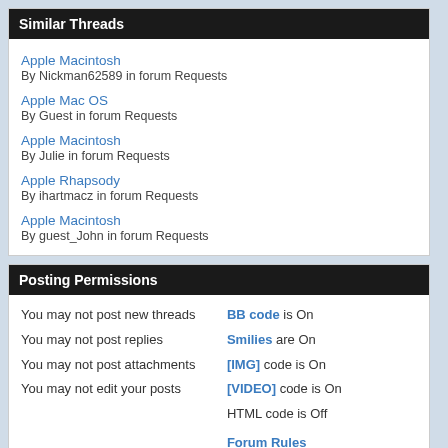Similar Threads
Apple Macintosh
By Nickman62589 in forum Requests
Apple Mac OS
By Guest in forum Requests
Apple Macintosh
By Julie in forum Requests
Apple Rhapsody
By ihartmacz in forum Requests
Apple Macintosh
By guest_John in forum Requests
Posting Permissions
You may not post new threads
You may not post replies
You may not post attachments
You may not edit your posts
BB code is On
Smilies are On
[IMG] code is On
[VIDEO] code is On
HTML code is Off
Forum Rules